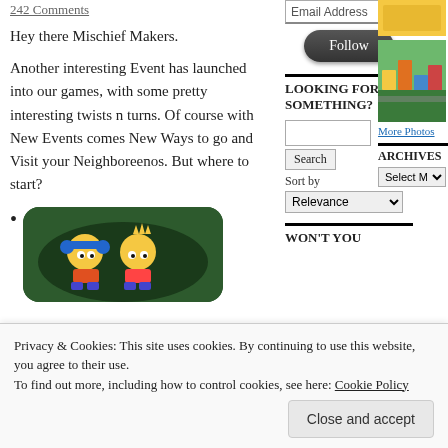242 Comments
Hey there Mischief Makers.
Another interesting Event has launched into our games, with some pretty interesting twists n turns. Of course with New Events comes New Ways to go and Visit your Neighboreenos. But where to start?
[Figure (illustration): Cartoon illustration of Simpsons characters on a dark green rounded background, showing characters with headphones and Bart Simpson.]
Before we get started, let’s recap
Email Address
Follow
LOOKING FOR SOMETHING?
Sort by
Relevance
WON'T YOU
[Figure (photo): Small thumbnail image, yellowish tones.]
[Figure (photo): Small thumbnail image of a Simpsons-style isometric game screenshot with colorful buildings.]
More Photos
ARCHIVES
Select Mont
Privacy & Cookies: This site uses cookies. By continuing to use this website, you agree to their use.
To find out more, including how to control cookies, see here: Cookie Policy
Close and accept